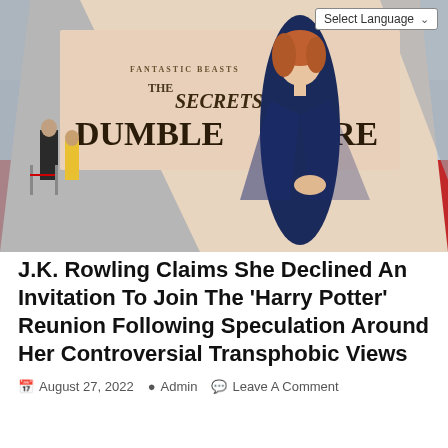[Figure (photo): Woman in navy blue dress standing on a red carpet in front of a large sign reading 'Fantastic Beasts: The Secrets of Dumbledore'. People and barriers visible in background.]
J.K. Rowling Claims She Declined An Invitation To Join The 'Harry Potter' Reunion Following Speculation Around Her Controversial Transphobic Views
August 27, 2022  Admin  Leave A Comment